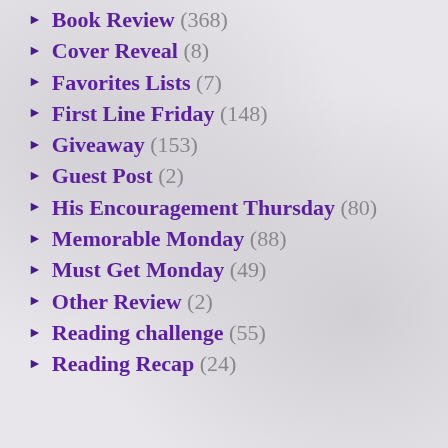Book Review (368)
Cover Reveal (8)
Favorites Lists (7)
First Line Friday (148)
Giveaway (153)
Guest Post (2)
His Encouragement Thursday (80)
Memorable Monday (88)
Must Get Monday (49)
Other Review (2)
Reading challenge (55)
Reading Recap (24)